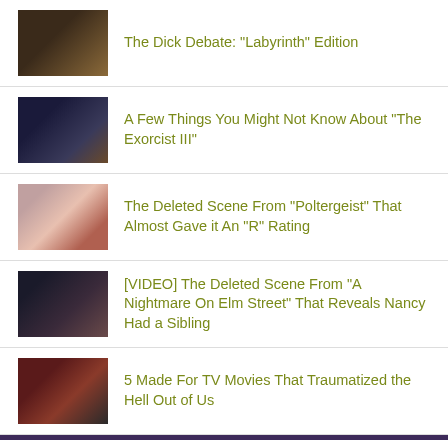The Dick Debate: "Labyrinth" Edition
A Few Things You Might Not Know About "The Exorcist III"
The Deleted Scene From "Poltergeist" That Almost Gave it An "R" Rating
[VIDEO] The Deleted Scene From "A Nightmare On Elm Street" That Reveals Nancy Had a Sibling
5 Made For TV Movies That Traumatized the Hell Out of Us
Advertisements
[Figure (photo): Seamless advertisement banner showing pizza on the left, Seamless red logo in the center, and ORDER NOW box on the right against a dark background]